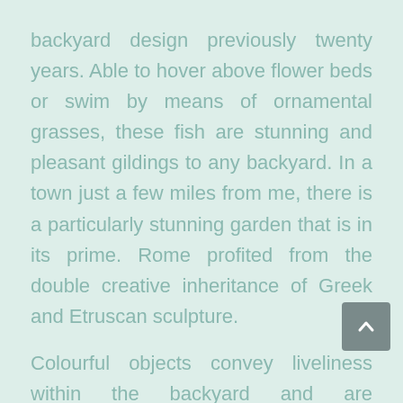backyard design previously twenty years. Able to hover above flower beds or swim by means of ornamental grasses, these fish are stunning and pleasant gildings to any backyard. In a town just a few miles from me, there is a particularly stunning garden that is in its prime. Rome profited from the double creative inheritance of Greek and Etruscan sculpture.
Colourful objects convey liveliness within the backyard and are appropriate to be set in entrance of monochromatic inexperienced hedges. On the subsequent web page, take a look at gardens that really deliver peace. There